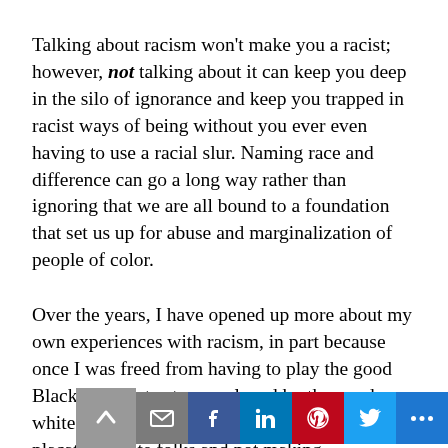Talking about racism won't make you a racist; however, not talking about it can keep you deep in the silo of ignorance and keep you trapped in racist ways of being without you ever even having to use a racial slur.  Naming race and difference can go a long way rather than ignoring that we are all bound to a foundation that set us up for abuse and marginalization of people of color.
Over the years, I have opened up more about my own experiences with racism, in part because once I was freed from having to play the good Black woman to stay employed by the good white people (which, let's be honest, meant placating white folks and not making